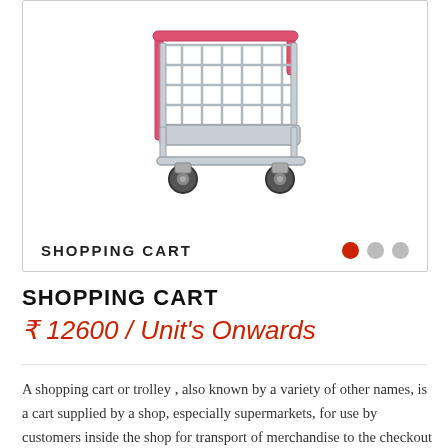[Figure (photo): A miniature shopping cart with metallic wire frame and pink/red handles, photographed on white background. Image slideshow with label 'SHOPPING CART' and three dot pagination indicators (first dot active in red).]
SHOPPING CART
₹ 12600 / Unit's Onwards
A shopping cart or trolley , also known by a variety of other names, is a cart supplied by a shop, especially supermarkets, for use by customers inside the shop for transport of merchandise to the checkout counter during shopping. Most modern shopping...